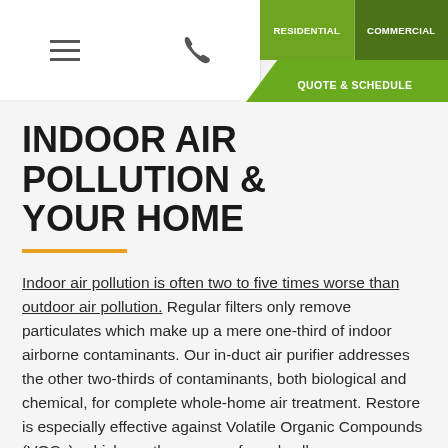RESIDENTIAL  COMMERCIAL  QUOTE & SCHEDULE
INDOOR AIR POLLUTION & YOUR HOME
Indoor air pollution is often two to five times worse than outdoor air pollution. Regular filters only remove particulates which make up a mere one-third of indoor airborne contaminants. Our in-duct air purifier addresses the other two-thirds of contaminants, both biological and chemical, for complete whole-home air treatment. Restore is especially effective against Volatile Organic Compounds (VOCs), which are the source of nearly all